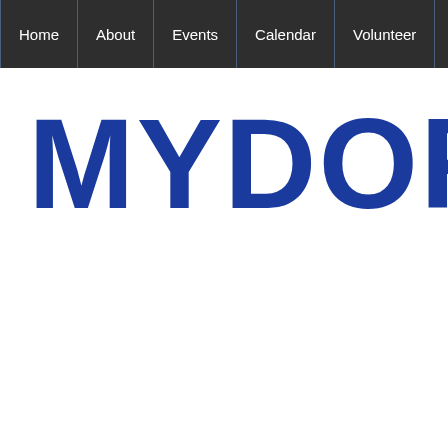Home | About | Events | Calendar | Volunteer | DotBoard
MYDORC